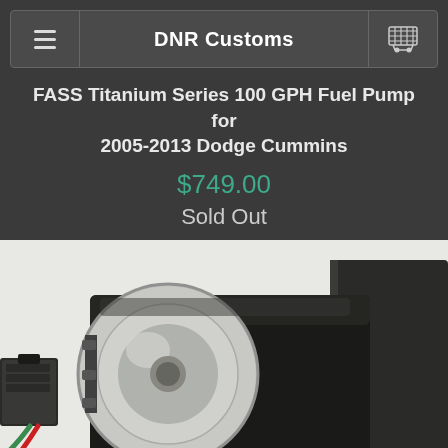DNR Customs
FASS Titanium Series 100 GPH Fuel Pump for 2005-2013 Dodge Cummins
$749.00
Sold Out
[Figure (photo): Close-up photograph of a FASS Titanium Series fuel pump, showing a cylindrical black motor body with a transparent/silver end cap, a black rectangular mounting bracket on the right side, and an electrical connector with green and red wires on the left side. The background is white/light gray.]